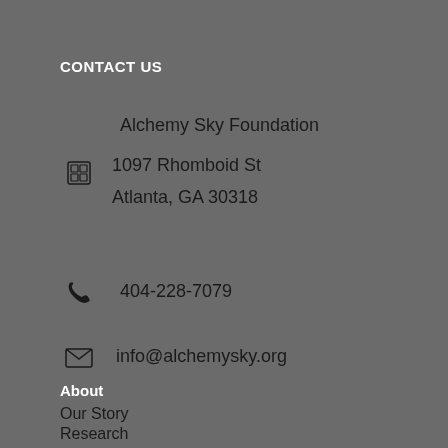CONTACT US
Alchemy Sky Foundation
1097 Rhomboid St
Atlanta, GA 30318
404-228-7079
info@alchemysky.org
About
Our Story
Research